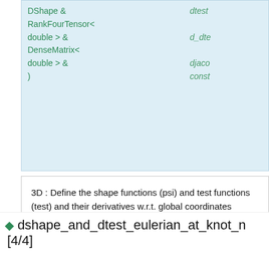DShape & RankFourTensor< double > & DenseMatrix< double > & )
dtest... d_dte... djaco... const
3D : Define the shape functions (psi) and test functions (test) and their derivatives w.r.t. global coordinates (dpsidx and dtestdx) and return Jacobian of mapping (J). Additionally compute the derivatives of dpsidx, dtestdx and J w.r.t. nodal coordinates.

Galerkin: Test functions = shape functions

Implements oomph::NavierStokesEquations< DIM >.

Definition at line 1304 of file Tnavier_stokes_elements.h.

References i.
◆ dshape_and_dtest_eulerian_at_knot_ [4/4]